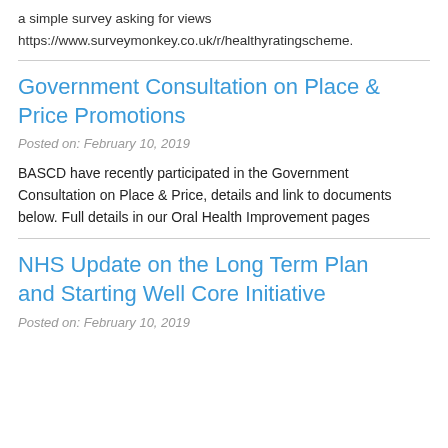a simple survey asking for views
https://www.surveymonkey.co.uk/r/healthyratingscheme.
Government Consultation on Place & Price Promotions
Posted on: February 10, 2019
BASCD have recently participated in the Government Consultation on Place & Price, details and link to documents below. Full details in our Oral Health Improvement pages
NHS Update on the Long Term Plan and Starting Well Core Initiative
Posted on: February 10, 2019